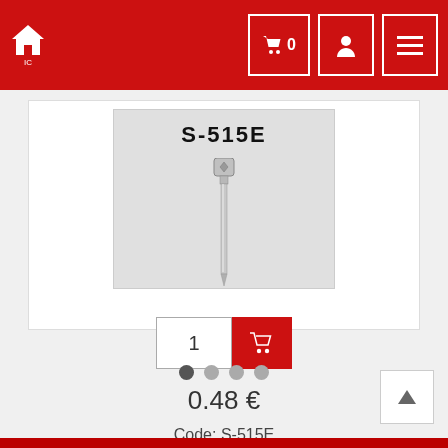Navigation bar with home icon, cart (0), user, and menu icons
[Figure (photo): Product image of a small silver hex socket cap screw (S-515E) on a gray background, with product code S-515E printed at top]
1
0.48 €
Code: S-515E